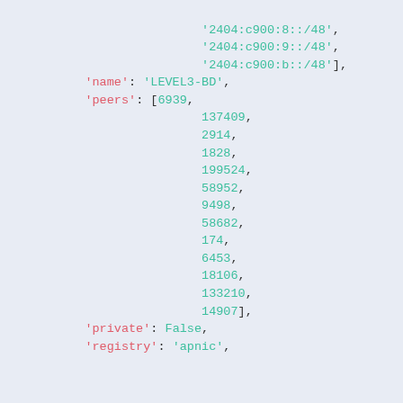code snippet showing network configuration data with name, peers, private, and registry fields